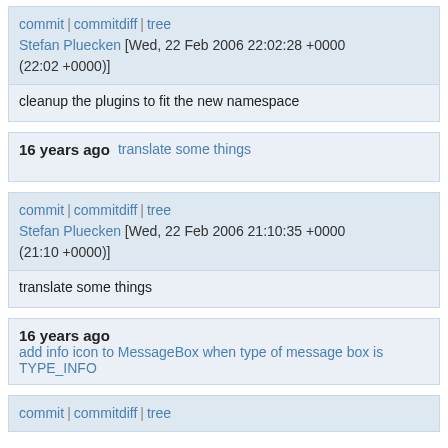commit | commitdiff | tree
Stefan Pluecken [Wed, 22 Feb 2006 22:02:28 +0000 (22:02 +0000)]
cleanup the plugins to fit the new namespace
16 years ago   translate some things
commit | commitdiff | tree
Stefan Pluecken [Wed, 22 Feb 2006 21:10:35 +0000 (21:10 +0000)]
translate some things
16 years ago   add info icon to MessageBox when type of message box is TYPE_INFO
commit | commitdiff | tree